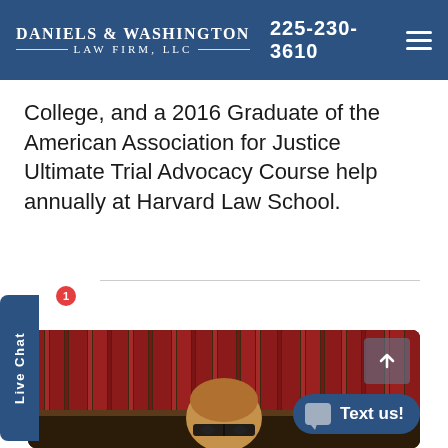DANIELS & WASHINGTON LAW FIRM, LLC | 225-230-3610
College, and a 2016 Graduate of the American Association for Justice Ultimate Trial Advocacy Course help annually at Harvard Law School.
[Figure (photo): Portrait photo of a man with glasses and a shaved head, in front of bookshelves with law books]
[Figure (screenshot): Live Chat widget with badge showing '1' and 'Text us!' button overlay]